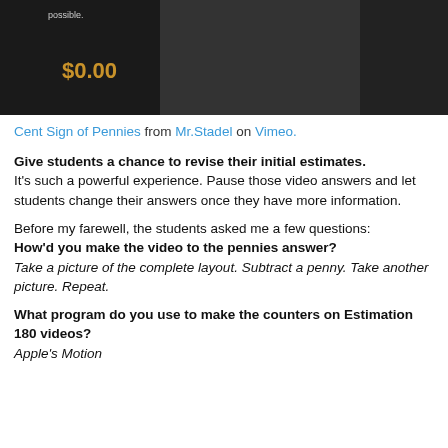[Figure (screenshot): Dark video screenshot showing $0.00 counter display with 'possible.' text visible in top right]
Cent Sign of Pennies from Mr.Stadel on Vimeo.
Give students a chance to revise their initial estimates. It's such a powerful experience. Pause those video answers and let students change their answers once they have more information.
Before my farewell, the students asked me a few questions: How'd you make the video to the pennies answer? Take a picture of the complete layout. Subtract a penny. Take another picture. Repeat.
What program do you use to make the counters on Estimation 180 videos? Apple's Motion